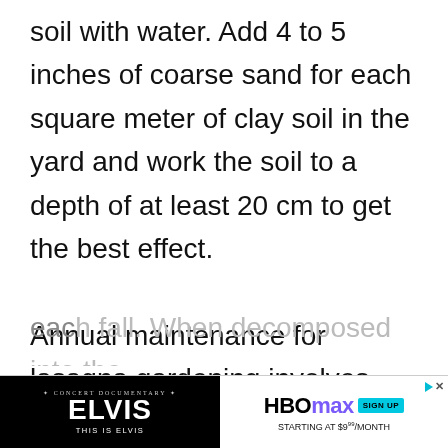soil with water. Add 4 to 5 inches of coarse sand for each square meter of clay soil in the yard and work the soil to a depth of at least 20 cm to get the best effect.
Annual maintenance for lasagna gardening involves adding a new layer of material to the top of your garden each fall. When decomposed into the hou...
[Figure (other): Advertisement banner for ELVIS Concert Documentary 'This Is Elvis' on HBO Max, starting at $9.99/month with Sign Up button]